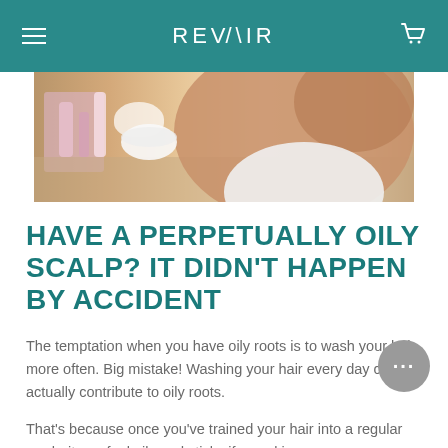REVAIR
[Figure (photo): Photo of a person sitting at a vanity/bathroom counter with beauty products and a bowl visible]
HAVE A PERPETUALLY OILY SCALP? IT DIDN'T HAPPEN BY ACCIDENT
The temptation when you have oily roots is to wash your hair more often. Big mistake! Washing your hair every day can actually contribute to oily roots.
That's because once you've trained your hair into a regular wash, it can feel oily and sticky if you skip